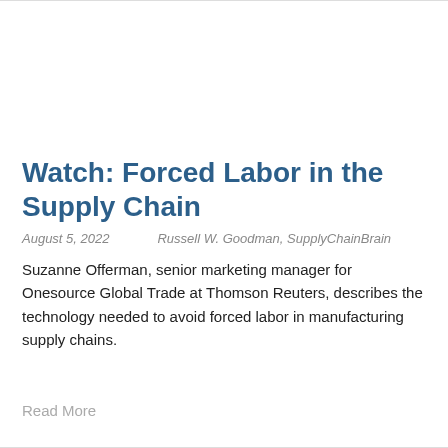Watch: Forced Labor in the Supply Chain
August 5, 2022     Russell W. Goodman, SupplyChainBrain
Suzanne Offerman, senior marketing manager for Onesource Global Trade at Thomson Reuters, describes the technology needed to avoid forced labor in manufacturing supply chains.
Read More